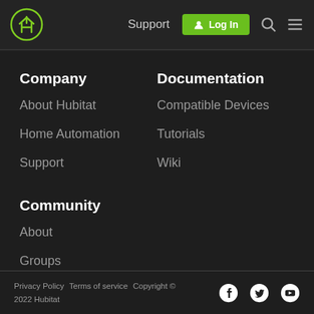Support  Log In
Company
About Hubitat
Home Automation
Support
Documentation
Compatible Devices
Tutorials
Wiki
Community
About
Groups
FAQ
Privacy Policy  Terms of service  Copyright © 2022 Hubitat